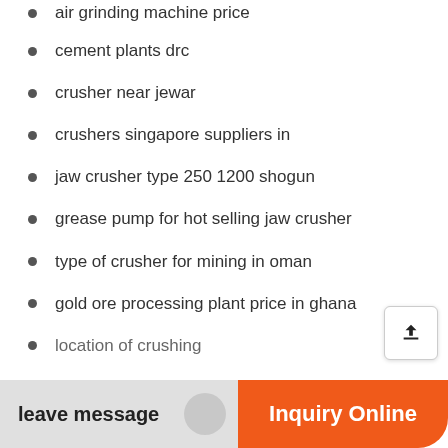air grinding machine price
cement plants drc
crusher near jewar
crushers singapore suppliers in
jaw crusher type 250 1200 shogun
grease pump for hot selling jaw crusher
type of crusher for mining in oman
gold ore processing plant price in ghana
location of crushing
leave message
Inquiry Online